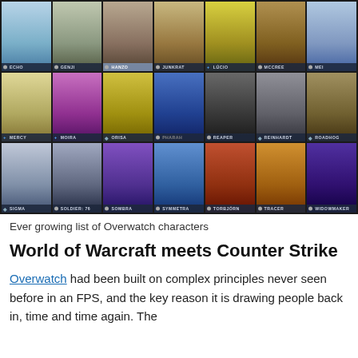[Figure (illustration): Grid of Overwatch hero character portraits arranged in 3 rows of 7 columns, each with a name label at the bottom. Row 1: Echo, Genji, Hanzo (selected/highlighted), Junkrat, Lúcio, McCree, Mei. Row 2: Mercy, Moira, Orisa, Pharah (greyed out), Reaper, Reinhardt, Roadhog. Row 3: Sigma, Soldier: 76, Sombra, Symmetra, Torbjörn, Tracer, Widowmaker.]
Ever growing list of Overwatch characters
World of Warcraft meets Counter Strike
Overwatch had been built on complex principles never seen before in an FPS, and the key reason it is drawing people back in, time and time again. The